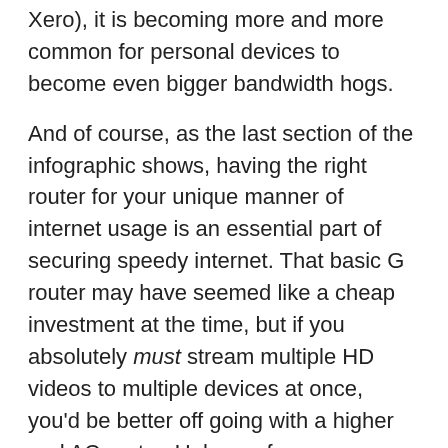Xero), it is becoming more and more common for personal devices to become even bigger bandwidth hogs.
And of course, as the last section of the infographic shows, having the right router for your unique manner of internet usage is an essential part of securing speedy internet. That basic G router may have seemed like a cheap investment at the time, but if you absolutely must stream multiple HD videos to multiple devices at once, you'd be better off going with a higher end AC router. Unless, of course, you enjoy watching Netflix buffer every two minutes.
Though there are many more tips than just this, this infographic provides a solid beginning for figuring out just why that internet of yours isn't as fast as it used to be. So start tracking down those bandwidth hogs and making some changes.